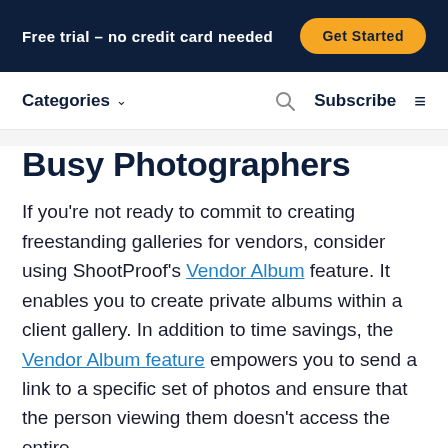Free trial – no credit card needed
Categories
Busy Photographers
If you're not ready to commit to creating freestanding galleries for vendors, consider using ShootProof's Vendor Album feature. It enables you to create private albums within a client gallery. In addition to time savings, the Vendor Album feature empowers you to send a link to a specific set of photos and ensure that the person viewing them doesn't access the entire